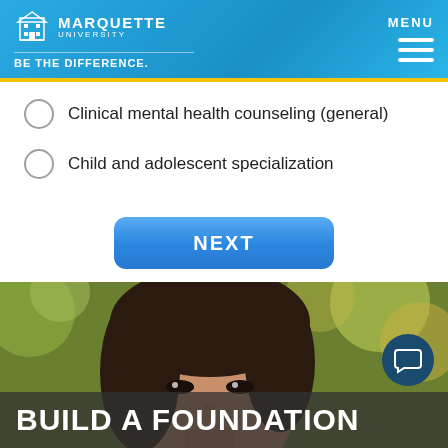MARQUETTE UNIVERSITY BE THE DIFFERENCE.
Clinical mental health counseling (general)
Child and adolescent specialization
NEXT
[Figure (photo): Young Asian woman looking up outdoors with blurred foliage background]
BUILD A FOUNDATION